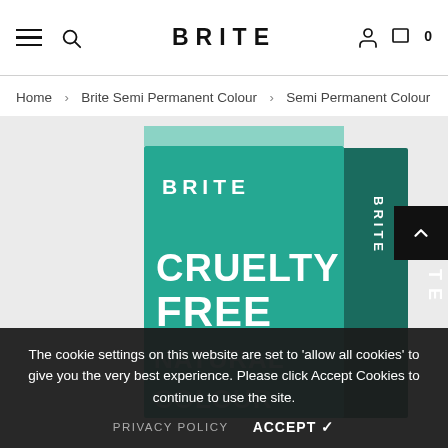BRITE — navigation header with hamburger menu, search, account, and cart icons
Home > Brite Semi Permanent Colour > Semi Permanent Colour
[Figure (photo): Teal/green product box for Brite Semi Permanent Colour hair dye, with 'BRITE' logo at top and 'CRUELTY FREE' text prominently displayed in white bold letters on the front face. The side of the box shows 'BRITE' vertically. Bottom of box shows partial text 'NATURAL COLOUR'.]
The cookie settings on this website are set to 'allow all cookies' to give you the very best experience. Please click Accept Cookies to continue to use the site.
PRIVACY POLICY    ACCEPT ✓